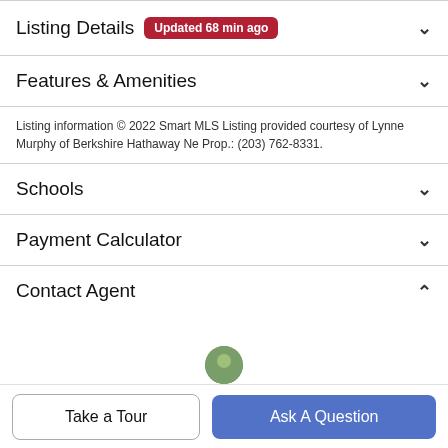Listing Details Updated 68 min ago
Features & Amenities
Listing information © 2022 Smart MLS Listing provided courtesy of Lynne Murphy of Berkshire Hathaway Ne Prop.: (203) 762-8331.
Schools
Payment Calculator
Contact Agent
Take a Tour
Ask A Question